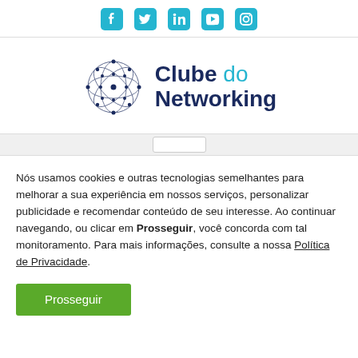[Figure (other): Social media icons row: Facebook, Twitter, LinkedIn, YouTube, Instagram in teal/cyan color]
[Figure (logo): Clube do Networking logo with network sphere graphic and text 'Clube do Networking']
Nós usamos cookies e outras tecnologias semelhantes para melhorar a sua experiência em nossos serviços, personalizar publicidade e recomendar conteúdo de seu interesse. Ao continuar navegando, ou clicar em Prosseguir, você concorda com tal monitoramento. Para mais informações, consulte a nossa Política de Privacidade.
Prosseguir